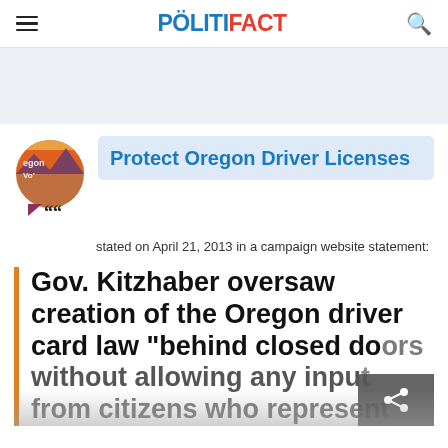POLITIFACT
[Figure (logo): PolitiFact logo with hamburger menu and search icon]
[Figure (illustration): Ad banner placeholder area in light blue-gray]
[Figure (illustration): Protect Oregon Driver Licenses campaign logo — speech bubble with sun/mountain graphic and quote marks]
Protect Oregon Driver Licenses
stated on April 21, 2013 in a campaign website statement:
Gov. Kitzhaber oversaw creation of the Oregon driver card law "behind closed doors" without allowing any input from citizens who represent